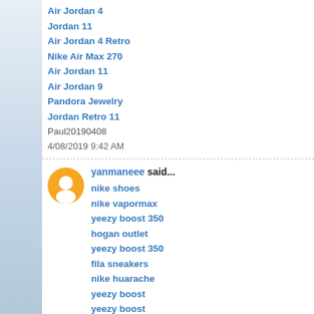Air Jordan 4
Jordan 11
Air Jordan 4 Retro
Nike Air Max 270
Air Jordan 11
Air Jordan 9
Pandora Jewelry
Jordan Retro 11
Paul20190408
4/08/2019 9:42 AM
yanmaneee said...
nike shoes
nike vapormax
yeezy boost 350
hogan outlet
yeezy boost 350
fila sneakers
nike huarache
yeezy boost
yeezy boost
kyrie 4 shoes